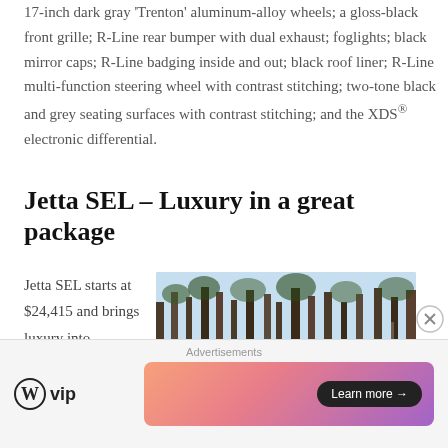17-inch dark gray 'Trenton' aluminum-alloy wheels; a gloss-black front grille; R-Line rear bumper with dual exhaust; foglights; black mirror caps; R-Line badging inside and out; black roof liner; R-Line multi-function steering wheel with contrast stitching; two-tone black and grey seating surfaces with contrast stitching; and the XDS® electronic differential.
Jetta SEL – Luxury in a great package
Jetta SEL starts at $24,415 and brings luxury into
[Figure (photo): Photo of a Volkswagen Jetta SEL sedan on a road with trees in the background]
Advertisements
[Figure (logo): WordPress VIP logo with circular W icon and 'vip' text]
[Figure (other): Advertisement banner with gradient background and 'Learn more →' button]